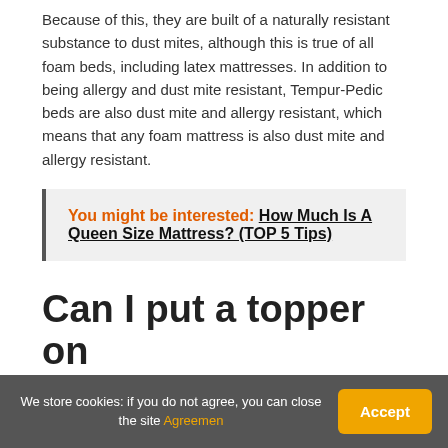Because of this, they are built of a naturally resistant substance to dust mites, although this is true of all foam beds, including latex mattresses. In addition to being allergy and dust mite resistant, Tempur-Pedic beds are also dust mite and allergy resistant, which means that any foam mattress is also dust mite and allergy resistant.
You might be interested: How Much Is A Queen Size Mattress? (TOP 5 Tips)
Can I put a topper on my TempurPedic
We store cookies: if you do not agree, you can close the site Agreemen